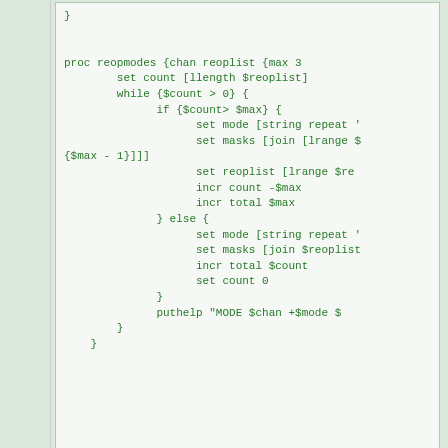[Figure (screenshot): Forum post code block showing Tcl/IRC scripting code for 'reopmodes' procedure with while loop, if/else branches, set mode, set masks, incr count, incr total, puthelp commands]
Last edited by simo on Sun Feb 27, 2022 10:19 pm; edited 4
Back to top
simo
Owner
Posted: Sun Feb 27, 2022 9:39 pm    Post subject:
the output of: